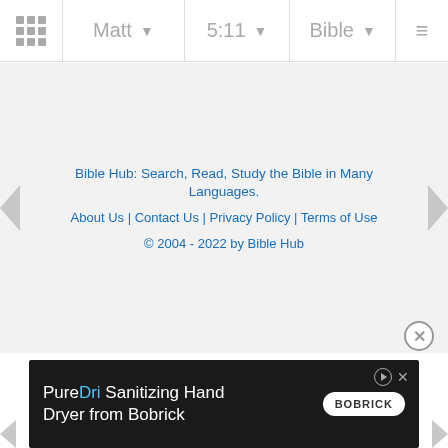Matt 5:11 Bible
Bible Hub: Search, Read, Study the Bible in Many Languages.
About Us | Contact Us | Privacy Policy | Terms of Use
© 2004 - 2022 by Bible Hub
[Figure (screenshot): Advertisement banner: PureDri Sanitizing Hand Dryer from Bobrick]